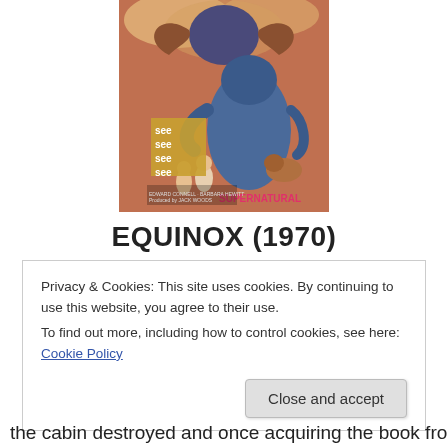[Figure (illustration): Movie poster for Equinox (1970) / Supernatural, showing fantasy creatures including a large blue demon/monster with wings, smaller figures running below, and promotional text 'see see see see' in the lower left. Produced by Jack Woods.]
EQUINOX (1970)
Privacy & Cookies: This site uses cookies. By continuing to use this website, you agree to their use.
To find out more, including how to control cookies, see here: Cookie Policy
Close and accept
the cabin destroyed and once acquiring the book from a